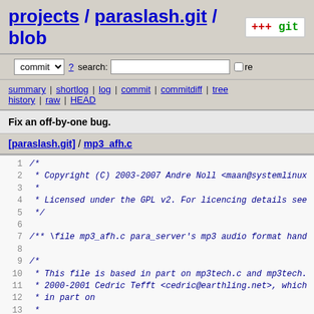projects / paraslash.git / blob
commit ? search: re
summary | shortlog | log | commit | commitdiff | tree history | raw | HEAD
Fix an off-by-one bug.
[paraslash.git] / mp3_afh.c
Code listing lines 1-19 of mp3_afh.c